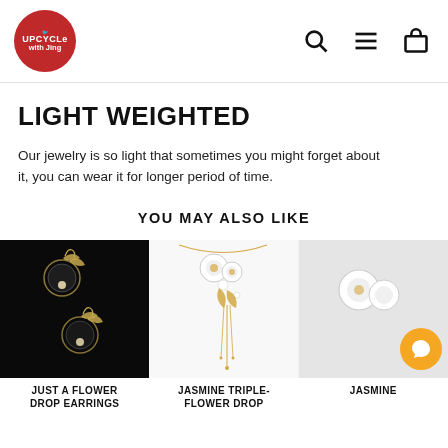Upcycle with Jing — navigation header with logo, search, menu, and cart icons
LIGHT WEIGHTED
Our jewelry is so light that sometimes you might forget about it, you can wear it for longer period of time.
YOU MAY ALSO LIKE
[Figure (photo): Just A Flower Drop Earrings product photo on black background]
JUST A FLOWER DROP EARRINGS
[Figure (photo): Jasmine Triple-Flower Drop necklace product photo on white background]
JASMINE TRIPLE-FLOWER DROP
[Figure (photo): Jasmine (partially visible) product photo on grey background with chat bubble icon]
JASMINE